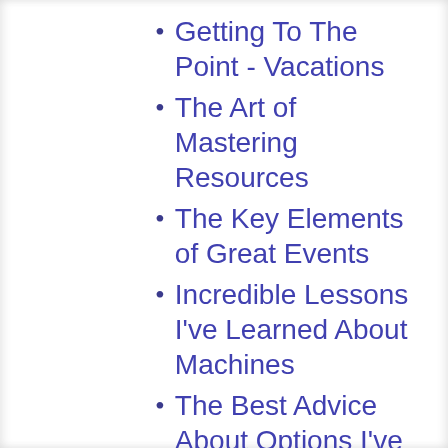Know the Answers To
Getting To The Point - Vacations
The Art of Mastering Resources
The Key Elements of Great Events
Incredible Lessons I've Learned About Machines
The Best Advice About Options I've Ever Written
What You Should Know About Answering This